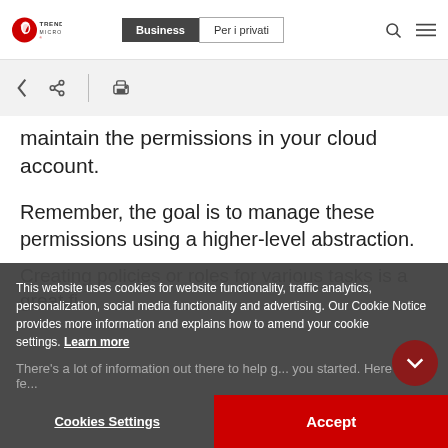[Figure (screenshot): Trend Micro website navigation bar with logo, Business and Per i privati tabs, search and menu icons]
[Figure (screenshot): Toolbar with back arrow, share icon, divider, and print icon on light grey background]
maintain the permissions in your cloud account.
Remember, the goal is to manage these permissions using a higher-level abstraction.
Creating policies or roles for various tasks is a great fi...
There’s a lot of information out there to help g... you started. Here are a fe...
This website uses cookies for website functionality, traffic analytics, personalization, social media functionality and advertising. Our Cookie Notice provides more information and explains how to amend your cookie settings. Learn more
Cookies Settings
Accept